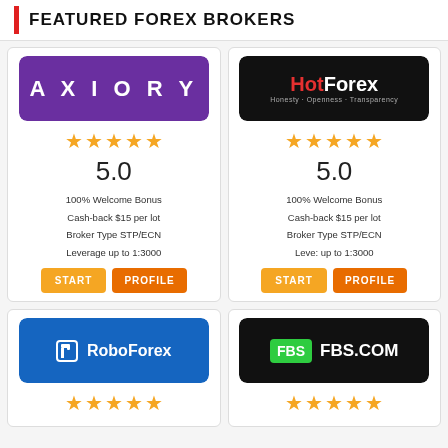FEATURED FOREX BROKERS
[Figure (logo): Axiory broker logo - purple background with white AXIORY text]
5.0
100% Welcome Bonus
Cash-back $15 per lot
Broker Type STP/ECN
Leverage up to 1:3000
[Figure (logo): HotForex broker logo - black background with red Hot and white Forex text]
5.0
100% Welcome Bonus
Cash-back $15 per lot
Broker Type STP/ECN
Leve: up to 1:3000
[Figure (logo): RoboForex broker logo - blue background with white RoboForex text]
[Figure (logo): FBS.COM broker logo - black background with green FBS badge and white FBS.COM text]